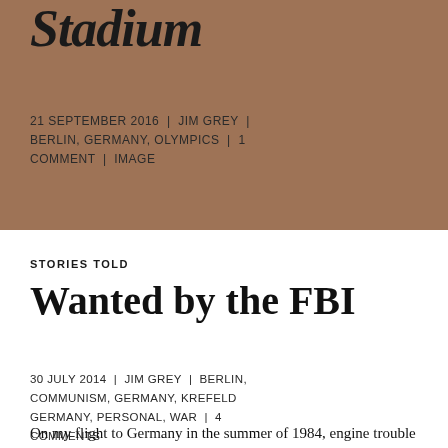Stadium
21 SEPTEMBER 2016 | JIM GREY | BERLIN, GERMANY, OLYMPICS | 1 COMMENT | IMAGE
STORIES TOLD
Wanted by the FBI
30 JULY 2014 | JIM GREY | BERLIN, COMMUNISM, GERMANY, KREFELD GERMANY, PERSONAL, WAR | 4 COMMENTS
On my flight to Germany in the summer of 1984, engine trouble forced us to land in Düsseldorf rather than in Frankfurt as planned. From my Düsseldorf layover I ...